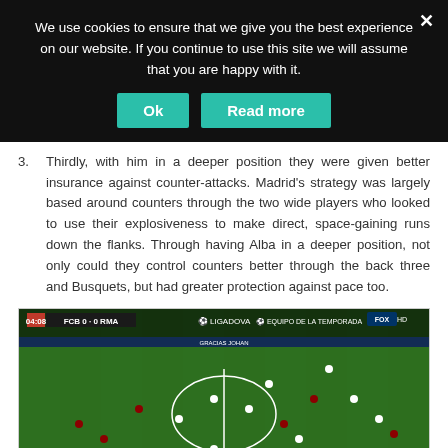We use cookies to ensure that we give you the best experience on our website. If you continue to use this site we will assume that you are happy with it.
Ok
Read more
3. Thirdly, with him in a deeper position they were given better insurance against counter-attacks. Madrid's strategy was largely based around counters through the two wide players who looked to use their explosiveness to make direct, space-gaining runs down the flanks. Through having Alba in a deeper position, not only could they control counters better through the back three and Busquets, but had greater protection against pace too.
[Figure (screenshot): Football match screenshot showing FCB 0 - 0 RMA at 04:08, with players on a green pitch, LIGADOVA branding and FOX HD watermark visible.]